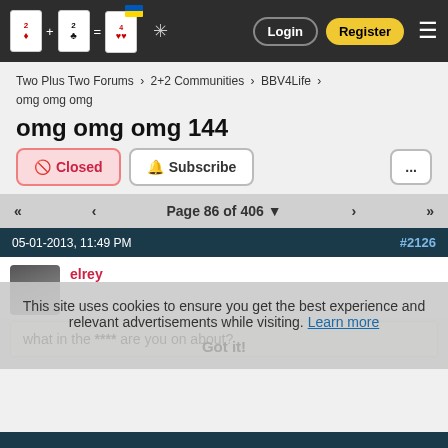Two Plus Two Forums navbar with Login and Register buttons
Two Plus Two Forums > 2+2 Communities > BBV4Life > omg omg omg
omg omg omg 144
Closed   Subscribe   ...
Page 86 of 406
05-01-2013, 11:49 PM   #2126
elrey
what in the **** are you on about?
This site uses cookies to ensure you get the best experience and relevant advertisements while visiting. Learn more   Got it!